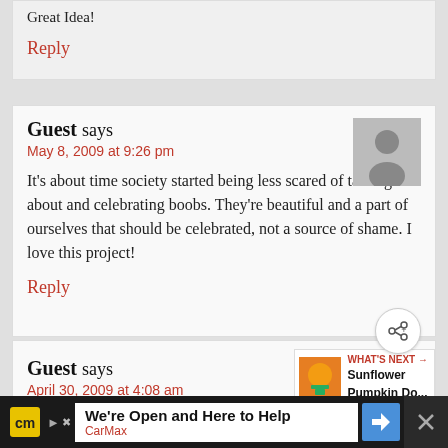Great Idea!
Reply
Guest says
May 8, 2009 at 9:26 pm
It's about time society started being less scared of talking about and celebrating boobs. They're beautiful and a part of ourselves that should be celebrated, not a source of shame. I love this project!
Reply
Guest says
April 30, 2009 at 4:08 am
i have 7 sisters 1 w/BC and 3 of us have had
WHAT'S NEXT → Sunflower Pumpkin Do...
We're Open and Here to Help CarMax